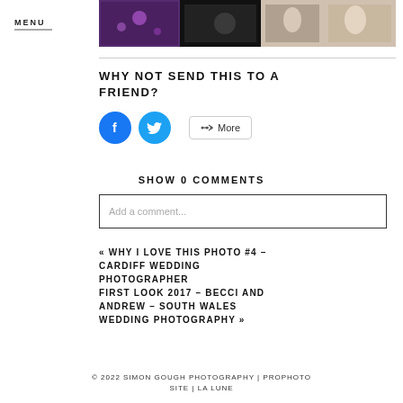MENU
[Figure (photo): Strip of wedding photography images including indoor reception with purple lighting, black and white group shot, and outdoor couple photo]
WHY NOT SEND THIS TO A FRIEND?
[Figure (infographic): Social share buttons: Facebook (blue circle with f icon), Twitter (blue circle with bird icon), and More button with share icon]
SHOW 0 COMMENTS
Add a comment...
« WHY I LOVE THIS PHOTO #4 – CARDIFF WEDDING PHOTOGRAPHER
FIRST LOOK 2017 – BECCI AND ANDREW – SOUTH WALES WEDDING PHOTOGRAPHY »
© 2022 SIMON GOUGH PHOTOGRAPHY | PROPHOTO SITE | LA LUNE